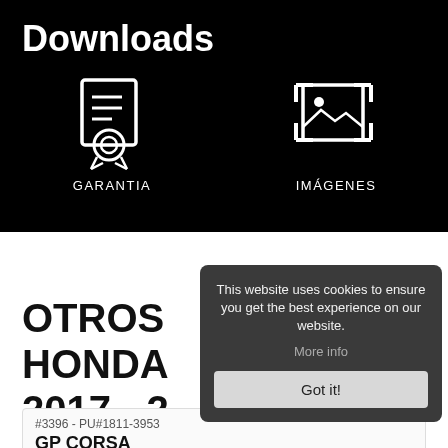Downloads
[Figure (illustration): Certificate/warranty icon with badge, labeled GARANTIA]
[Figure (illustration): Image/photo crop icon, labeled IMÁGENES]
OTROS HONDA 2017 - 2...
This website uses cookies to ensure you get the best experience on our website. More info Got it!
#3396 - PU#1811-3953 GP CORSA